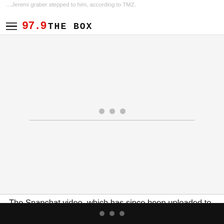…Jeremi graber stepped to him, according to TMZ.
97.9 THE BOX
[Figure (other): Advertisement placeholder area with three grey dots and a horizontal divider line]
The Snapchat video, which has since been uploaded to YouTube, starts with Katt arguing with a young man before he quickly punches him in the face. After the punch, the two